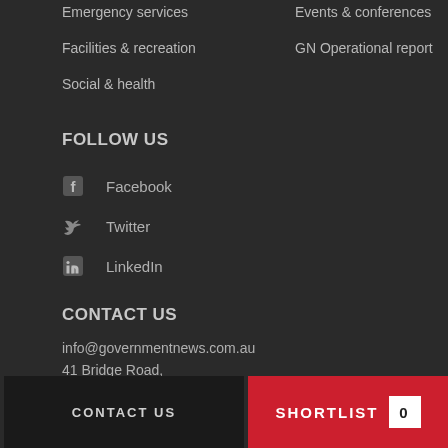Emergency services
Facilities & recreation
Social & health
Events & conferences
GN Operational report
FOLLOW US
Facebook
Twitter
LinkedIn
CONTACT US
info@governmentnews.com.au
41 Bridge Road,
Glebe NSW 2037
show map
SEND TIP
CONTACT US
SHORTLIST 0